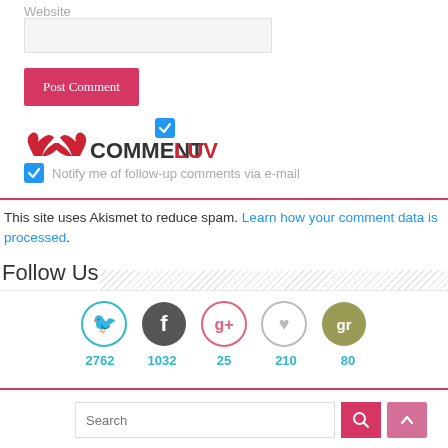Website
[Figure (screenshot): Website text input field]
[Figure (screenshot): Post Comment button (pink/red)]
[Figure (logo): CommentLuv logo with wings and checkbox]
Notify me of follow-up comments via e-mail
This site uses Akismet to reduce spam. Learn how your comment data is processed.
Follow Us
[Figure (infographic): Social media icons: Twitter 2762, Facebook 1032, Google+ 25, Heart 210, Goodreads 80]
[Figure (screenshot): Search bar with pink search button and up arrow button]